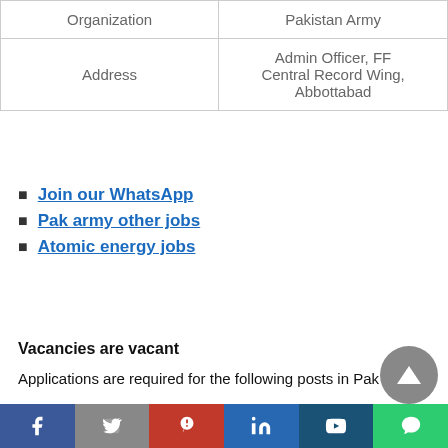| Organization | Pakistan Army |
| --- | --- |
| Address | Admin Officer, FF Central Record Wing, Abbottabad |
Join our WhatsApp
Pak army other jobs
Atomic energy jobs
Vacancies are vacant
Applications are required for the following posts in Pak